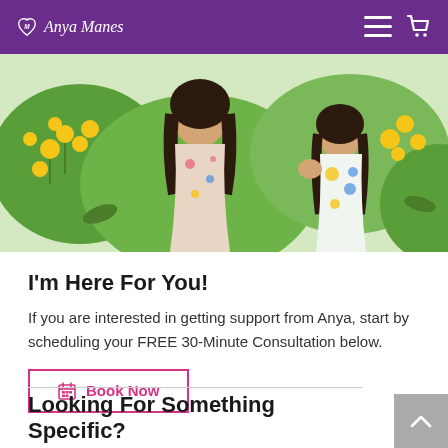Anya Manes
[Figure (photo): Two women in floral dresses outdoors among yellow flowers]
I'm Here For You!
If you are interested in getting support from Anya, start by scheduling your FREE 30-Minute Consultation below.
Book Now
Looking For Something Specific?